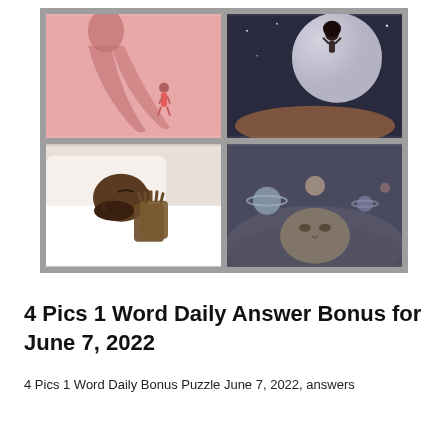[Figure (photo): A 2x2 grid of images on a gray background: top-left shows a pink background with a small girl figure and a large shadow; top-right shows a space scene with a moon and a person floating holding a balloon; bottom-left shows a man sleeping in bed with hands pressed together; bottom-right shows a surreal image of a woman's face with planets orbiting her head.]
4 Pics 1 Word Daily Answer Bonus for June 7, 2022
4 Pics 1 Word Daily Bonus Puzzle June 7, 2022, answers